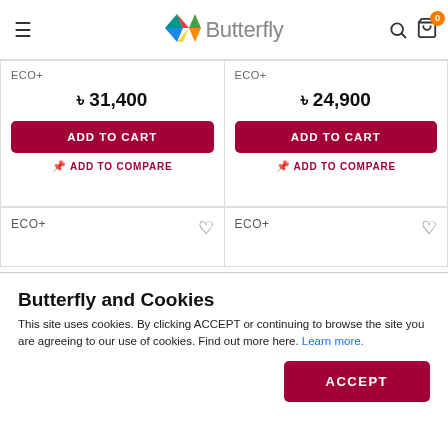Butterfly (logo header with navigation)
ECO+
৳ 31,400
ADD TO CART
ADD TO COMPARE
ECO+
৳ 24,900
ADD TO CART
ADD TO COMPARE
ECO+
ECO+
Butterfly and Cookies
This site uses cookies. By clicking ACCEPT or continuing to browse the site you are agreeing to our use of cookies. Find out more here. Learn more.
ACCEPT